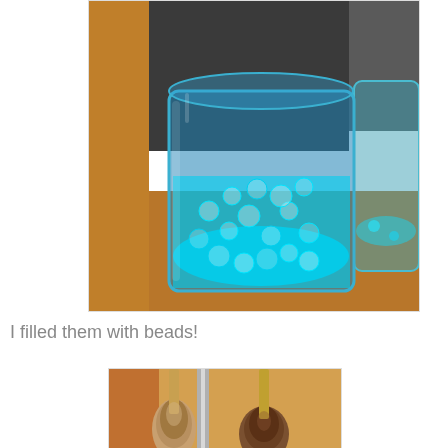[Figure (photo): A blue glass cylindrical vase filled with clear/cyan water beads (hydrogel beads), glowing bright teal-blue. Wooden shelf background with another partial blue glass container visible on the right.]
I filled them with beads!
[Figure (photo): Partial view of makeup brushes (natural bristle brushes) in front of what appears to be a wooden framed mirror.]